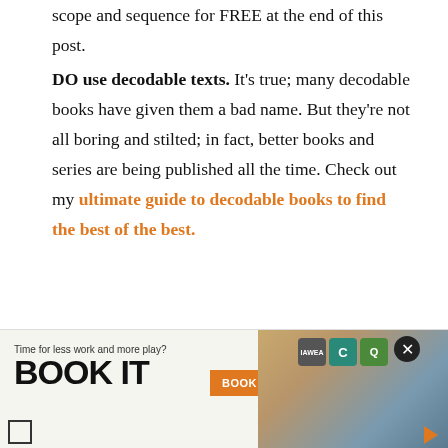scope and sequence for FREE at the end of this post.
DO use decodable texts. It's true; many decodable books have given them a bad name. But they're not all boring and stilted; in fact, better books and series are being published all the time. Check out my ultimate guide to decodable books to find the best of the best.
DO follow a consistent routine in your phonics
[Figure (screenshot): Advertisement banner: 'Time for less work and more play? BOOK IT' with orange BOOK NOW button, brand icons, a close button, and a photo of a person on a couch]